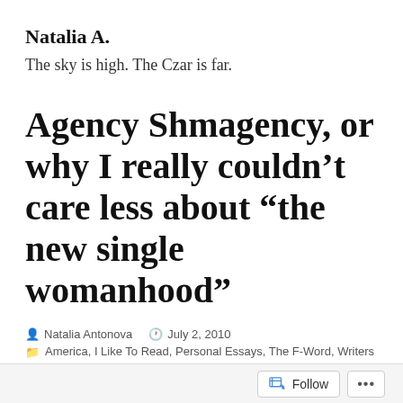Natalia A.
The sky is high. The Czar is far.
Agency Shmagency, or why I really couldn’t care less about “the new single womanhood”
Natalia Antonova   July 2, 2010
America, I Like To Read, Personal Essays, The F-Word, Writers
Follow ...